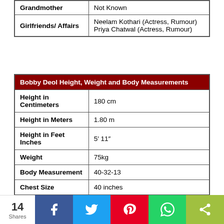|  |  |
| --- | --- |
| Grandmother | Not Known |
| Girlfriends/ Affairs | Neelam Kothari (Actress, Rumour)
Priya Chatwal (Actress, Rumour) |
| Bobby Deol Height, Weight and Body Measurements |  |
| --- | --- |
| Height in Centimeters | 180 cm |
| Height in Meters | 1.80 m |
| Height in Feet Inches | 5′ 11″ |
| Weight | 75kg |
| Body Measurement | 40-32-13 |
| Chest Size | 40 inches |
| Waist Size | 32 inches |